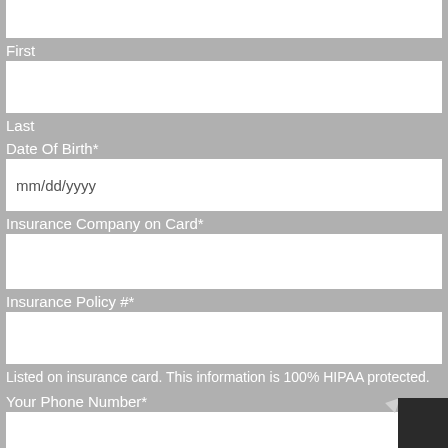First
Last
Date Of Birth*
Insurance Company on Card*
Insurance Policy #*
Listed on insurance card. This information is 100% HIPAA protected.
Your Phone Number*